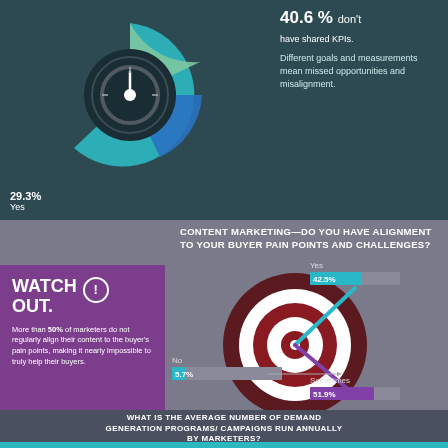[Figure (donut-chart): Donut chart showing percentage with shared KPIs. Yes=29.3%, and 40.6% don't have shared KPIs.]
40.6 % don't have shared KPIs. Different goals and measurements mean missed opportunities and misalignment.
29.3% Yes
CONTENT MARKETING—DO YOU HAVE ALIGNMENT TO YOUR BUYER PAIN POINTS AND CHALLENGES?
[Figure (infographic): Target/bullseye with three colored arrows pointing to Yes (42.5%), No (5.7%), and Sometimes (51.9%). Bar chart indicators show each percentage.]
WATCH OUT. More than 50% of marketers do not regularly align their content to the buyer's pain points, making it nearly impossible to truly help their buyers.
[Figure (bar-chart): Buyer pain point alignment]
WHAT IS THE AVERAGE NUMBER OF DEMAND GENERATION PROGRAMS/ CAMPAIGNS RUN ANNUALLY BY MARKETERS?